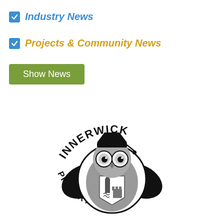Industry News
Projects & Community News
Show News
[Figure (logo): Innerwick Primary School logo: an owl wearing a graduation cap and mortar board, holding a shield with school emblems, with text arcing 'INNERWICK' above and 'PRIMARY SCHOOL' below in black.]